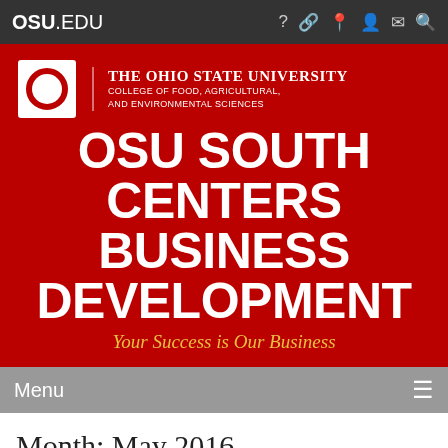OSU.EDU
[Figure (logo): The Ohio State University College of Food, Agricultural, and Environmental Sciences logo with block O]
OSU SOUTH CENTERS BUSINESS DEVELOPMENT
Your Success is Our Business
Menu
Month: May 2016
26 Teamwork, it's not rocket